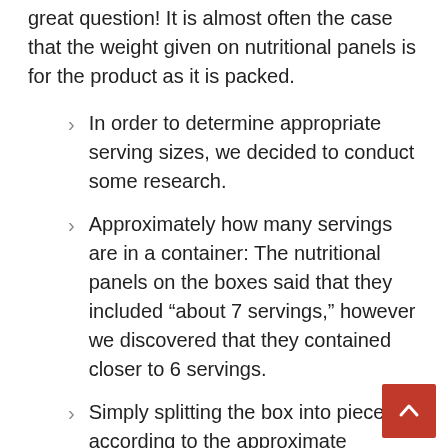great question! It is almost often the case that the weight given on nutritional panels is for the product as it is packed.
In order to determine appropriate serving sizes, we decided to conduct some research.
Approximately how many servings are in a container: The nutritional panels on the boxes said that they included “about 7 servings,” however we discovered that they contained closer to 6 servings.
Simply splitting the box into pieces according to the approximate number of “servings per container” will not